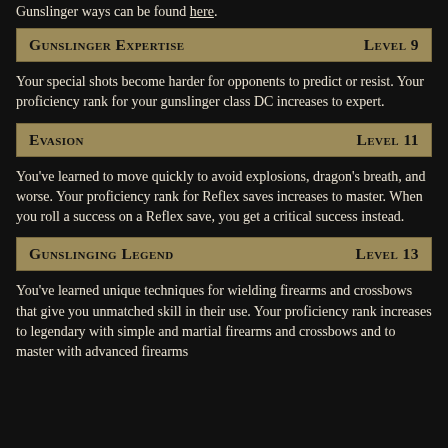Gunslinger ways can be found here.
Gunslinger Expertise  Level 9
Your special shots become harder for opponents to predict or resist. Your proficiency rank for your gunslinger class DC increases to expert.
Evasion  Level 11
You've learned to move quickly to avoid explosions, dragon's breath, and worse. Your proficiency rank for Reflex saves increases to master. When you roll a success on a Reflex save, you get a critical success instead.
Gunslinging Legend  Level 13
You've learned unique techniques for wielding firearms and crossbows that give you unmatched skill in their use. Your proficiency rank increases to legendary with simple and martial firearms and crossbows and to master with advanced firearms